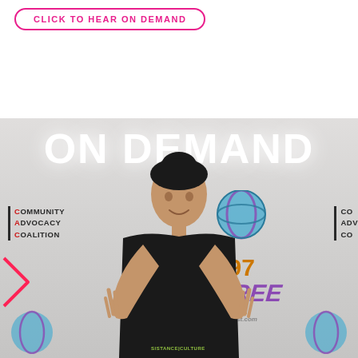CLICK TO HEAR ON DEMAND
[Figure (photo): Woman with dark hair in a bun making peace signs with both hands, standing in front of a Community Advocacy Coalition and 97.3 FM Coast.com branded step-and-repeat banner. The words ON DEMAND appear in large glowing white text above her head.]